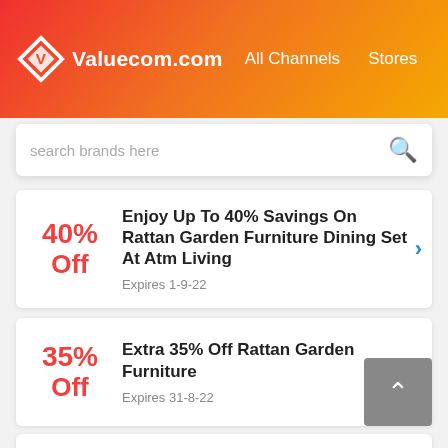Valuecom.com  All Channels  Stores
search brands here
40% Off – Enjoy Up To 40% Savings On Rattan Garden Furniture Dining Set At Atm Living – Expires 1-9-22
35% Off – Extra 35% Off Rattan Garden Furniture – Expires 31-8-22
85% Off – Save Up To 85% On Rattan Garden Furniture Bistro Set